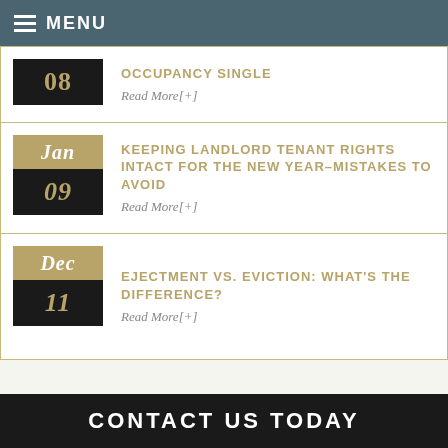MENU
OCCUPANCY SINGLE — Read More[+] — 08
KEEPING LANDLORD TENANT RIGHTS INTACT FOR THE NEW YEAR–MISTAKES TO AVOID — Read More[+] — Jan 09
EJECTMENT VS. EVICTION: WHAT'S THE DIFFERENCE? — Read More[+] — Dec 11
CONTACT US TODAY